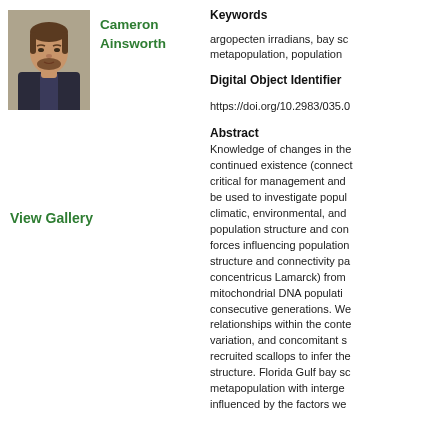[Figure (photo): Headshot photo of Cameron Ainsworth, a man with brown hair and beard wearing a dark suit]
Cameron Ainsworth
View Gallery
Keywords
argopecten irradians, bay sc metapopulation, population
Digital Object Identifier
https://doi.org/10.2983/035.0
Abstract
Knowledge of changes in the continued existence (connect critical for management and be used to investigate popul climatic, environmental, and population structure and con forces influencing population structure and connectivity pa concentricus Lamarck) from mitochondrial DNA populati consecutive generations. We relationships within the conte variation, and concomitant s recruited scallops to infer the structure. Florida Gulf bay sc metapopulation with interge influenced by the factors we